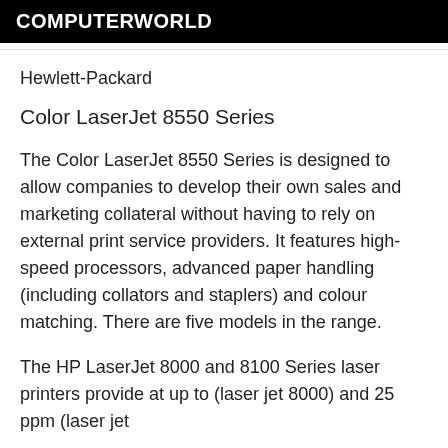COMPUTERWORLD
Hewlett-Packard
Color LaserJet 8550 Series
The Color LaserJet 8550 Series is designed to allow companies to develop their own sales and marketing collateral without having to rely on external print service providers. It features high-speed processors, advanced paper handling (including collators and staplers) and colour matching. There are five models in the range.
The HP LaserJet 8000 and 8100 Series laser printers provide at up to (laser jet 8000) and 25 ppm (laser jet...